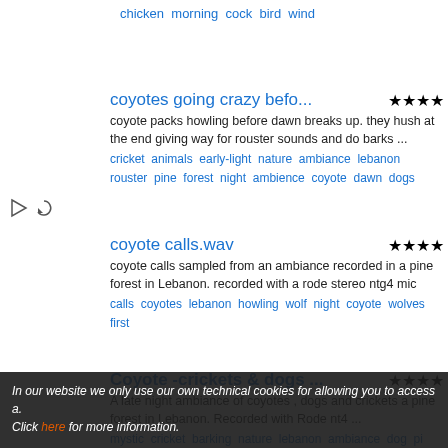chicken morning cock bird wind
coyotes going crazy befo...
coyote packs howling before dawn breaks up. they hush at the end giving way for rouster sounds and do barks ...
cricket animals early-light nature ambiance lebanon rouster pine forest night ambience coyote dawn dogs
coyote calls.wav
coyote calls sampled from an ambiance recorded in a pine forest in Lebanon. recorded with a rode stereo ntg4 mic
calls coyotes lebanon howling wolf night coyote wolves first
Coyote -crickets & dogs ...
A late night ambiance of coyotes , dogs and crickets a pine forest in Lebanon. Recorded with Rode nt4 ...
mystic cricket barking nature lebanon ambiance dog pi howling wolf forest night ambience coyote
Night Insects Lebanon .wav
In our website we only use our own technical cookies for allowing you to access a. Click here for more information.